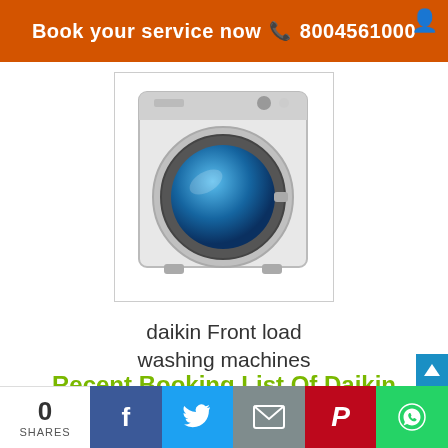Book your service now  📞 8004561000
[Figure (photo): Front-loading washing machine, silver/white color with blue circular door window, displayed against white background in a bordered card]
daikin Front load washing machines
Recent Booking List Of Daikin Washing Machine Repair In Rajkot
0 SHARES | Facebook | Twitter | Email | Pinterest | WhatsApp